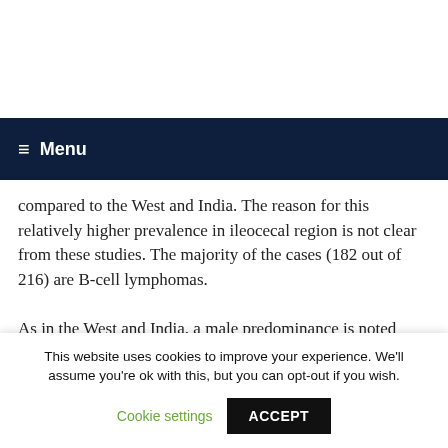Menu
compared to the West and India. The reason for this relatively higher prevalence in ileocecal region is not clear from these studies. The majority of the cases (182 out of 216) are B-cell lymphomas.
As in the West and India, a male predominance is noted (male: female ratio 1.27:1) and the median age at diagnosis is 56.9 years (range 8-89 years).
This website uses cookies to improve your experience. We'll assume you're ok with this, but you can opt-out if you wish.
Cookie settings   ACCEPT